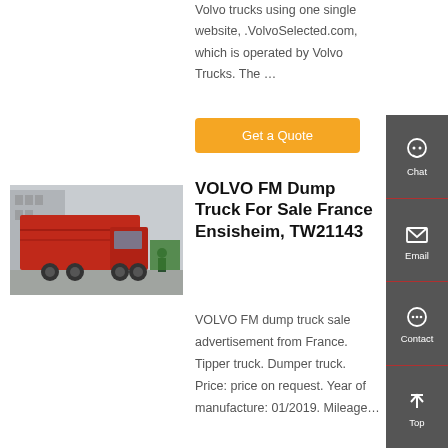Volvo trucks using one single website, .VolvoSelected.com, which is operated by Volvo Trucks. The …
Get a Quote
[Figure (photo): Red VOLVO FM dump truck photographed in a yard with containers in background]
VOLVO FM Dump Truck For Sale France Ensisheim, TW21143
VOLVO FM dump truck sale advertisement from France. Tipper truck. Dumper truck. Price: price on request. Year of manufacture: 01/2019. Mileage…